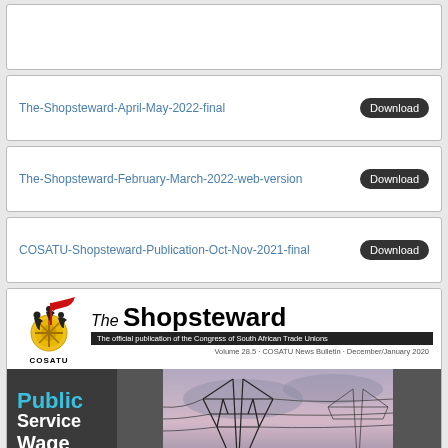The-Shopsteward-April-May-2022-final  Download
The-Shopsteward-February-March-2022-web-version  Download
COSATU-Shopsteward-Publication-Oct-Nov-2021-final  Download
[Figure (illustration): The Shopsteward magazine cover - COSATU logo with workers imagery, title 'The Shopsteward', subtitle 'The official publication of the Congress of South African Trade Unions', Volume 28.5 COSATU News Bulletin December/January 2020. Cover shows 'Public Service Wage' text over an electricity pylon photo.]